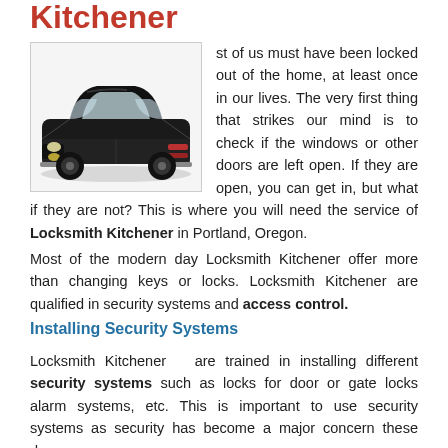Kitchener
[Figure (photo): A black classic car (vintage Lincoln Continental style) photographed from a front three-quarter angle against a white background.]
st of us must have been locked out of the home, at least once in our lives. The very first thing that strikes our mind is to check if the windows or other doors are left open. If they are open, you can get in, but what if they are not? This is where you will need the service of Locksmith Kitchener in Portland, Oregon.
Most of the modern day Locksmith Kitchener offer more than changing keys or locks. Locksmith Kitchener are qualified in security systems and access control.
Installing Security Systems
Locksmith Kitchener   are trained in installing different security systems such as locks for door or gate locks alarm systems, etc. This is important to use security systems as security has become a major concern these days.